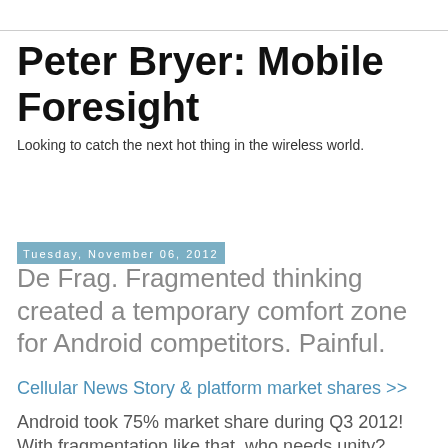Peter Bryer: Mobile Foresight
Looking to catch the next hot thing in the wireless world.
Tuesday, November 06, 2012
De Frag. Fragmented thinking created a temporary comfort zone for Android competitors. Painful.
Cellular News Story & platform market shares >>
Android took 75% market share during Q3 2012! With fragmentation like that, who needs unity?